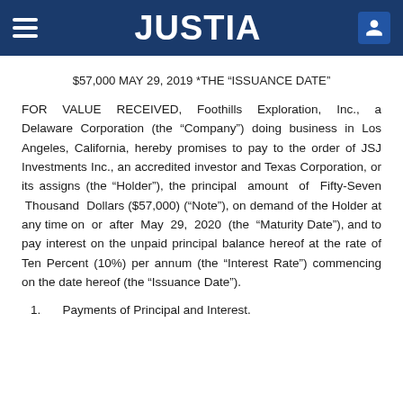JUSTIA
$57,000 MAY 29, 2019 *THE “ISSUANCE DATE”
FOR VALUE RECEIVED, Foothills Exploration, Inc., a Delaware Corporation (the “Company”) doing business in Los Angeles, California, hereby promises to pay to the order of JSJ Investments Inc., an accredited investor and Texas Corporation, or its assigns (the “Holder”), the principal amount of Fifty-Seven Thousand Dollars ($57,000) (“Note”), on demand of the Holder at any time on or after May 29, 2020 (the “Maturity Date”), and to pay interest on the unpaid principal balance hereof at the rate of Ten Percent (10%) per annum (the “Interest Rate”) commencing on the date hereof (the “Issuance Date”).
1.  Payments of Principal and Interest.